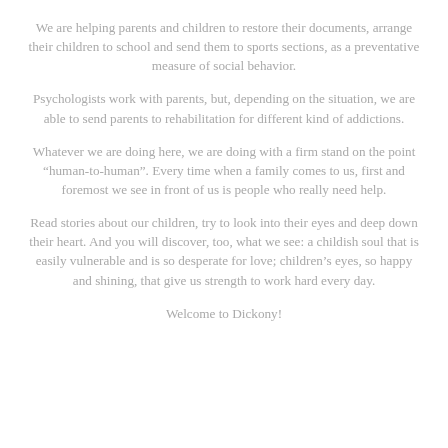We are helping parents and children to restore their documents, arrange their children to school and send them to sports sections, as a preventative measure of social behavior.
Psychologists work with parents, but, depending on the situation, we are able to send parents to rehabilitation for different kind of addictions.
Whatever we are doing here, we are doing with a firm stand on the point “human-to-human”. Every time when a family comes to us, first and foremost we see in front of us is people who really need help.
Read stories about our children, try to look into their eyes and deep down their heart. And you will discover, too, what we see: a childish soul that is easily vulnerable and is so desperate for love; children’s eyes, so happy and shining, that give us strength to work hard every day.
Welcome to Dickony!